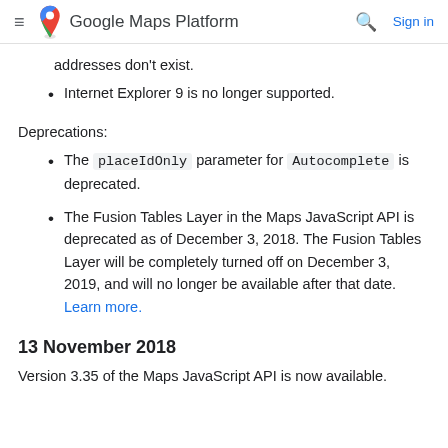Google Maps Platform — Sign in
addresses don't exist.
Internet Explorer 9 is no longer supported.
Deprecations:
The placeIdOnly parameter for Autocomplete is deprecated.
The Fusion Tables Layer in the Maps JavaScript API is deprecated as of December 3, 2018. The Fusion Tables Layer will be completely turned off on December 3, 2019, and will no longer be available after that date. Learn more.
13 November 2018
Version 3.35 of the Maps JavaScript API is now available.